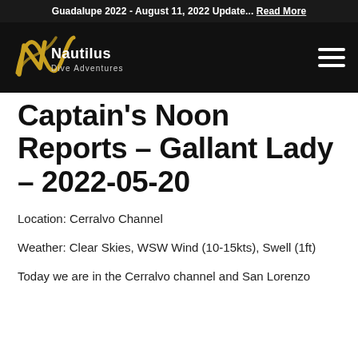Guadalupe 2022 - August 11, 2022 Update... Read More
[Figure (logo): Nautilus Dive Adventures logo — stylized N/wave in gold/yellow with white text on black background]
Captain's Noon Reports – Gallant Lady – 2022-05-20
Location: Cerralvo Channel
Weather: Clear Skies, WSW Wind (10-15kts), Swell (1ft)
Today we are in the Cerralvo channel and San Lorenzo